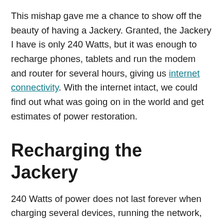This mishap gave me a chance to show off the beauty of having a Jackery. Granted, the Jackery I have is only 240 Watts, but it was enough to recharge phones, tablets and run the modem and router for several hours, giving us internet connectivity. With the internet intact, we could find out what was going on in the world and get estimates of power restoration.
Recharging the Jackery
240 Watts of power does not last forever when charging several devices, running the network, and plugging in the TV on occasion. As such, we had to find sources for recharging it. We were able to